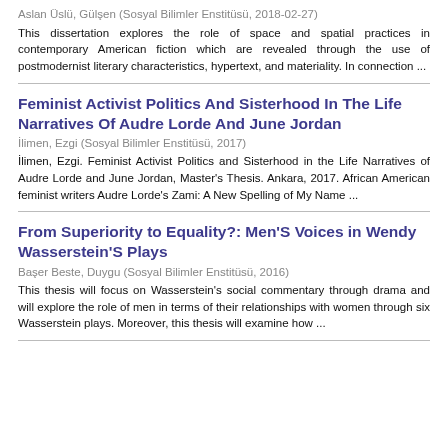Aslan Üslü, Gülşen (Sosyal Bilimler Enstitüsü, 2018-02-27)
This dissertation explores the role of space and spatial practices in contemporary American fiction which are revealed through the use of postmodernist literary characteristics, hypertext, and materiality. In connection ...
Feminist Activist Politics And Sisterhood In The Life Narratives Of Audre Lorde And June Jordan
İlimen, Ezgi (Sosyal Bilimler Enstitüsü, 2017)
İlimen, Ezgi. Feminist Activist Politics and Sisterhood in the Life Narratives of Audre Lorde and June Jordan, Master's Thesis. Ankara, 2017. African American feminist writers Audre Lorde's Zami: A New Spelling of My Name ...
From Superiority to Equality?: Men'S Voices in Wendy Wasserstein'S Plays
Başer Beste, Duygu (Sosyal Bilimler Enstitüsü, 2016)
This thesis will focus on Wasserstein's social commentary through drama and will explore the role of men in terms of their relationships with women through six Wasserstein plays. Moreover, this thesis will examine how ...